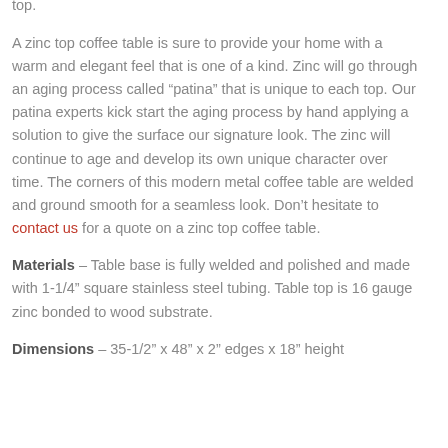with a brushed finish. This stainless steel coffee table is fully welded and polished and beautifully paired with a zinc table top.
A zinc top coffee table is sure to provide your home with a warm and elegant feel that is one of a kind. Zinc will go through an aging process called “patina” that is unique to each top. Our patina experts kick start the aging process by hand applying a solution to give the surface our signature look. The zinc will continue to age and develop its own unique character over time. The corners of this modern metal coffee table are welded and ground smooth for a seamless look. Don’t hesitate to contact us for a quote on a zinc top coffee table.
Materials – Table base is fully welded and polished and made with 1-1/4” square stainless steel tubing. Table top is 16 gauge zinc bonded to wood substrate.
Dimensions – 35-1/2” x 48” x 2” edges x 18” height